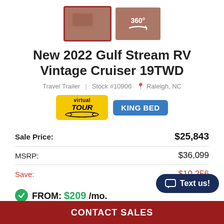[Figure (photo): Two RV interior thumbnail images: first with +28 overlay and red border, second with 360° overlay]
New 2022 Gulf Stream RV Vintage Cruiser 19TWD
Travel Trailer   Stock #10906   Raleigh, NC
[Figure (other): Two badges: yellow Virtual Tour badge and blue King Bed badge]
| Sale Price: | $25,843 |
| MSRP: | $36,099 |
| Save: | $10,256 |
FROM: $209 /mo.
Text us!
CONTACT SALES